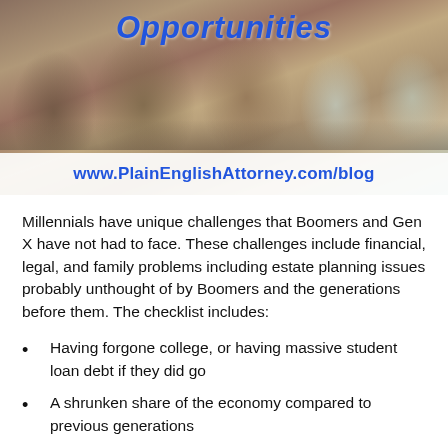[Figure (photo): Banner image showing a group of young adults (millennials) sitting together, looking at phones and socializing, with a teal/mint colored background. Overlaid with italic bold blue text 'Opportunities' at the top and a white bar at the bottom with blue bold URL text.]
Millennials have unique challenges that Boomers and Gen X have not had to face. These challenges include financial, legal, and family problems including estate planning issues probably unthought of by Boomers and the generations before them. The checklist includes:
Having forgone college, or having massive student loan debt if they did go
A shrunken share of the economy compared to previous generations
Sharply declining marriage/permanent partner